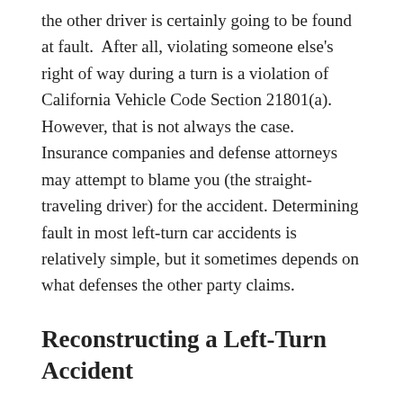the other driver is certainly going to be found at fault. After all, violating someone else's right of way during a turn is a violation of California Vehicle Code Section 21801(a). However, that is not always the case. Insurance companies and defense attorneys may attempt to blame you (the straight-traveling driver) for the accident. Determining fault in most left-turn car accidents is relatively simple, but it sometimes depends on what defenses the other party claims.
Reconstructing a Left-Turn Accident
As mentioned above, the law in California requires drivers to make a left turn only when vehicles coming the opposite direction are not “close enough to constitute a hazard”, and the turn can be completed with “reasonable safety.” Consequently,